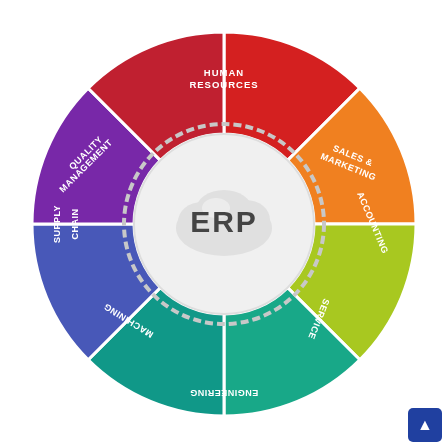[Figure (infographic): ERP wheel diagram showing 8 segments around a central cloud icon labeled 'ERP'. Segments (clockwise from top): Human Resources (red-orange), Sales & Marketing (orange), Accounting (yellow-green), Service (teal-green), Engineering (teal, text upside down), Machining (blue-purple, text upside down), Supply Chain (purple), Quality Management (crimson-red). Center has a white cloud shape with dark gray 'ERP' text. A gear/cog ring surrounds the center.]